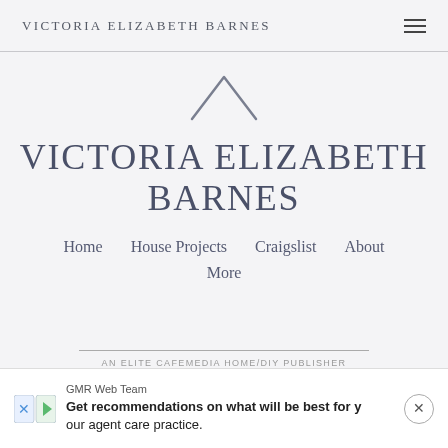VICTORIA ELIZABETH BARNES
[Figure (illustration): House/chevron roof icon outline in grey]
VICTORIA ELIZABETH BARNES
Home
House Projects
Craigslist
About
More
AN ELITE CAFEMEDIA HOME/DIY PUBLISHER
GMR Web Team
Get recommendations on what will be best for y our agent care practice.